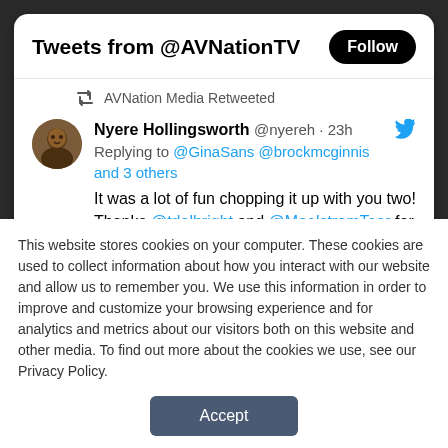[Figure (screenshot): Twitter widget showing 'Tweets from @AVNationTV' header with Follow button, a retweet by AVNation Media of a tweet by Nyere Hollingsworth (@nyereh · 23h) replying to @GinaSans @brockmcginnis and 3 others, with tweet text beginning 'It was a lot of fun chopping it up with you two! Thanks @tdalbright and @MaelstromTear for allowing me to hang out with these super']
This website stores cookies on your computer. These cookies are used to collect information about how you interact with our website and allow us to remember you. We use this information in order to improve and customize your browsing experience and for analytics and metrics about our visitors both on this website and other media. To find out more about the cookies we use, see our Privacy Policy.
Accept